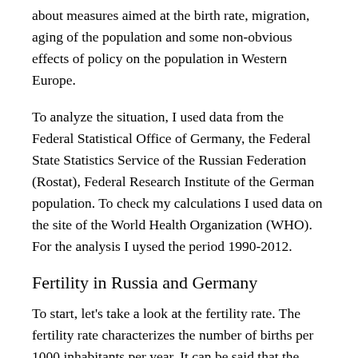about measures aimed at the birth rate, migration, aging of the population and some non-obvious effects of policy on the population in Western Europe.
To analyze the situation, I used data from the Federal Statistical Office of Germany, the Federal State Statistics Service of the Russian Federation (Rostat), Federal Research Institute of the German population. To check my calculations I used data on the site of the World Health Organization (WHO). For the analysis I uysed the period 1990-2012.
Fertility in Russia and Germany
To start, let’s take a look at the fertility rate. The fertility rate characterizes the number of births per 1000 inhabitants per year. It can be said that the fertility rate is one of the most important indicators to measure the population. Let me remind you that the population of Russia is about 143 million people, and the population of Germany is 81 million people.